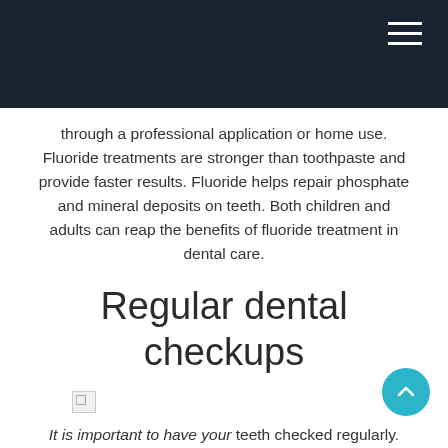[Navigation bar]
through a professional application or home use. Fluoride treatments are stronger than toothpaste and provide faster results. Fluoride helps repair phosphate and mineral deposits on teeth. Both children and adults can reap the benefits of fluoride treatment in dental care.
Regular dental checkups
[Figure (photo): Broken image placeholder]
It is important to have your teeth checked regularly. This not only helps keep your gums healthy, but can also detect any problems before they become more serious. Regular dental